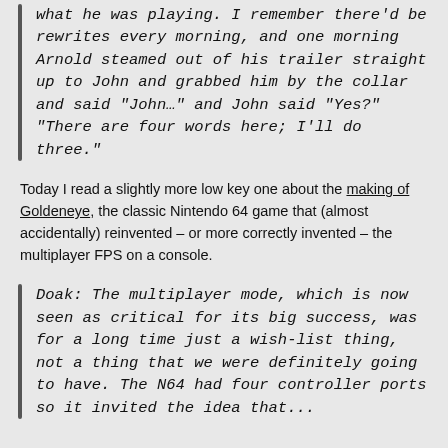what he was playing. I remember there'd be rewrites every morning, and one morning Arnold steamed out of his trailer straight up to John and grabbed him by the collar and said "John…" and John said "Yes?" "There are four words here; I'll do three."
Today I read a slightly more low key one about the making of Goldeneye, the classic Nintendo 64 game that (almost accidentally) reinvented – or more correctly invented – the multiplayer FPS on a console.
Doak: The multiplayer mode, which is now seen as critical for its big success, was for a long time just a wish-list thing, not a thing that we were definitely going to have. The N64 had four controller ports so it invited the idea that...